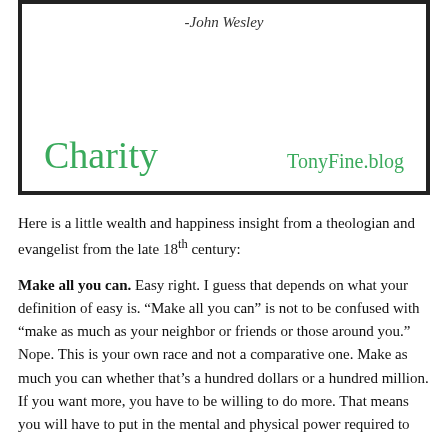[Figure (illustration): A card/box with a thick black border. At the top center is the attribution '-John Wesley' in italic text. At the bottom left is the word 'Charity' in large green text, and at the bottom right is 'TonyFine.blog' in green text.]
Here is a little wealth and happiness insight from a theologian and evangelist from the late 18th century:
Make all you can. Easy right. I guess that depends on what your definition of easy is. “Make all you can” is not to be confused with “make as much as your neighbor or friends or those around you.” Nope. This is your own race and not a comparative one. Make as much you can whether that’s a hundred dollars or a hundred million. If you want more, you have to be willing to do more. That means you will have to put in the mental and physical power required to